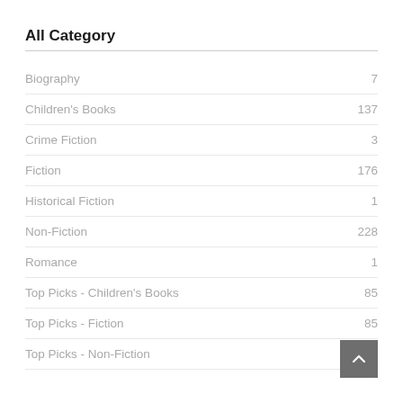All Category
Biography  7
Children's Books  137
Crime Fiction  3
Fiction  176
Historical Fiction  1
Non-Fiction  228
Romance  1
Top Picks - Children's Books  85
Top Picks - Fiction  85
Top Picks - Non-Fiction  98